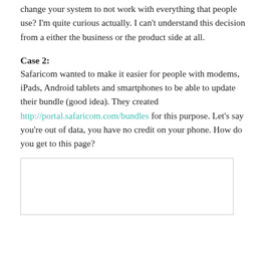change your system to not work with everything that people use? I'm quite curious actually. I can't understand this decision from a either the business or the product side at all.
Case 2:
Safaricom wanted to make it easier for people with modems, iPads, Android tablets and smartphones to be able to update their bundle (good idea). They created http://portal.safaricom.com/bundles for this purpose. Let's say you're out of data, you have no credit on your phone. How do you get to this page?
[Figure (other): Empty white box with border, likely placeholder for an image]